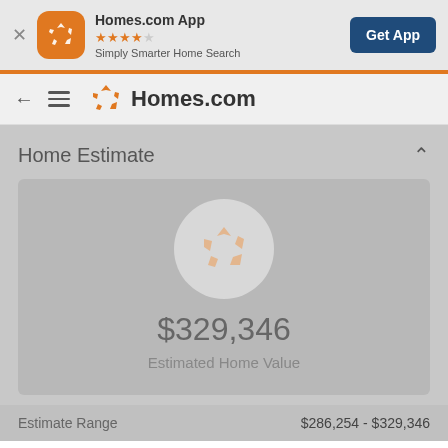[Figure (screenshot): Homes.com app banner with orange app icon, star rating, tagline, and Get App button]
Homes.com App
★★★★★
Simply Smarter Home Search
Get App
[Figure (logo): Homes.com logo with orange pinwheel icon and text Homes.com]
Home Estimate
$329,346
Estimated Home Value
Estimate Range
$286,254 - $329,346
Find a Specialist